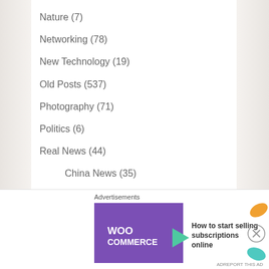Nature (7)
Networking (78)
New Technology (19)
Old Posts (537)
Photography (71)
Politics (6)
Real News (44)
China News (35)
U.S. News (11)
World News (16)
Science (48)
Agriculture (2)
Biology (2)
geopolitics (9)
Advertisements
[Figure (other): WooCommerce advertisement banner: purple logo with green arrow, text 'How to start selling subscriptions online', with orange and teal leaf graphics]